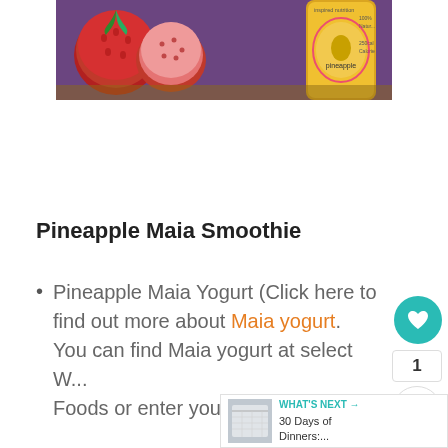[Figure (photo): Photo of fresh strawberries cut in half next to a yellow pineapple-flavored Maia yogurt bottle on a purple background. The bottle label reads 'inspired nutrition', 'pineapple', 'Greek-style + probiotic fiber', '100% Natural', '250cal Calories'.]
Pineapple Maia Smoothie
Pineapple Maia Yogurt (Click here to find out more about Maia yogurt.  You can find Maia yogurt at select W... Foods or enter your zip code